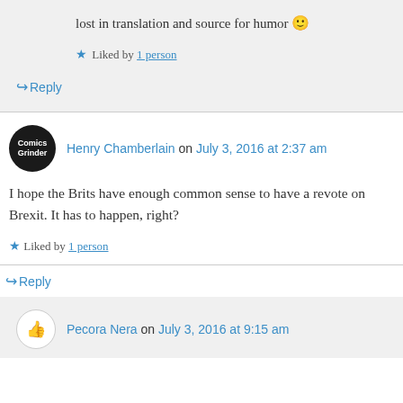lost in translation and source for humor 🙂
Liked by 1 person
↪ Reply
Henry Chamberlain on July 3, 2016 at 2:37 am
I hope the Brits have enough common sense to have a revote on Brexit. It has to happen, right?
Liked by 1 person
↪ Reply
Pecora Nera on July 3, 2016 at 9:15 am